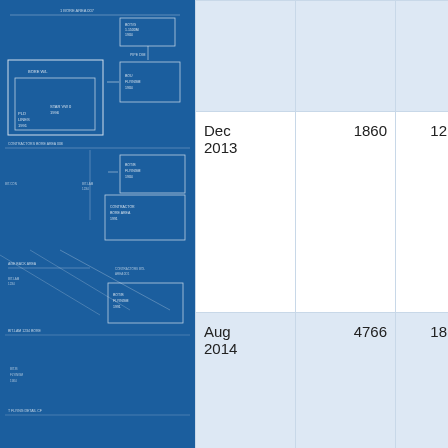[Figure (engineering-diagram): Blueprint-style engineering schematic with white line drawings on a dark blue background showing building floor plan or circuit layout with labeled blocks and connecting lines.]
|  |  |  |
| Dec 2013 | 1860 | 12 |
| Aug 2014 | 4766 | 18 |